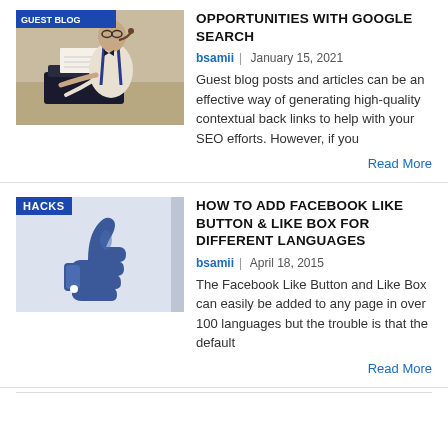[Figure (photo): Man in suspenders and bow tie working at a typewriter, wearing glasses, vintage style photo]
OPPORTUNITIES WITH GOOGLE SEARCH
bsamii | January 15, 2021
Guest blog posts and articles can be an effective way of generating high-quality contextual back links to help with your SEO efforts. However, if you
Read More
[Figure (illustration): Facebook Like thumbs-up icon on light blue/grey background with HACKS badge]
HOW TO ADD FACEBOOK LIKE BUTTON & LIKE BOX FOR DIFFERENT LANGUAGES
bsamii | April 18, 2015
The Facebook Like Button and Like Box can easily be added to any page in over 100 languages but the trouble is that the default
Read More